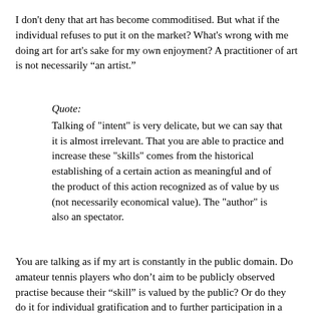I don't deny that art has become commoditised. But what if the individual refuses to put it on the market? What's wrong with me doing art for art's sake for my own enjoyment? A practitioner of art is not necessarily “an artist.”
Quote:
Talking of "intent" is very delicate, but we can say that it is almost irrelevant. That you are able to practice and increase these "skills" comes from the historical establishing of a certain action as meaningful and of the product of this action recognized as of value by us (not necessarily economical value). The "author" is also an spectator.
You are talking as if my art is constantly in the public domain. Do amateur tennis players who don’t aim to be publicly observed practise because their “skill” is valued by the public? Or do they do it for individual gratification and to further participation in a (limited) social practice?
Quote: